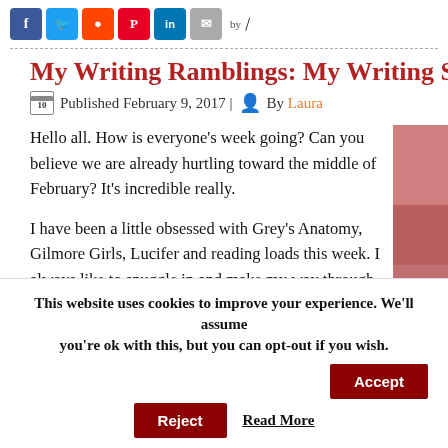[Figure (other): Social media share bar with Facebook, Twitter, Reddit, Pinterest, LinkedIn, Email icons and a feather 'by' logo]
My Writing Ramblings: My Writing S
Published February 9, 2017 | By Laura
Hello all. How is everyone's week going? Can you believe we are already hurtling toward the middle of February? It's incredible really.
I have been a little obsessed with Grey's Anatomy, Gilmore Girls, Lucifer and reading loads this week. I always like to snuggle in and make my way through box sets when I am not working. It is so cold at the moment and I am not good
[Figure (photo): Partial pink/rose toned image on right side]
This website uses cookies to improve your experience. We'll assume you're ok with this, but you can opt-out if you wish.
Accept
Reject
Read More